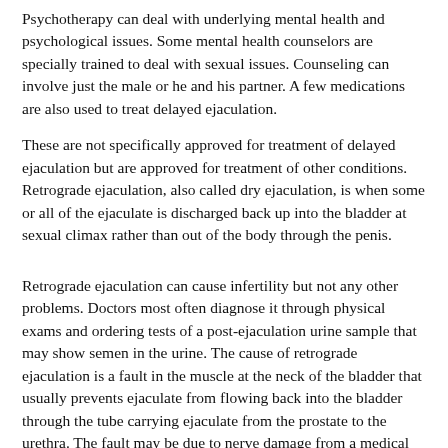Psychotherapy can deal with underlying mental health and psychological issues. Some mental health counselors are specially trained to deal with sexual issues. Counseling can involve just the male or he and his partner. A few medications are also used to treat delayed ejaculation.
These are not specifically approved for treatment of delayed ejaculation but are approved for treatment of other conditions. Retrograde ejaculation, also called dry ejaculation, is when some or all of the ejaculate is discharged back up into the bladder at sexual climax rather than out of the body through the penis.
Retrograde ejaculation can cause infertility but not any other problems. Doctors most often diagnose it through physical exams and ordering tests of a post-ejaculation urine sample that may show semen in the urine. The cause of retrograde ejaculation is a fault in the muscle at the neck of the bladder that usually prevents ejaculate from flowing back into the bladder through the tube carrying ejaculate from the prostate to the urethra. The fault may be due to nerve damage from a medical condition diabetes, spinal cord injuryreaction to certain medications or surgery bladder, prostate.
Stopping medications that can cause retrograde ejaculation is one